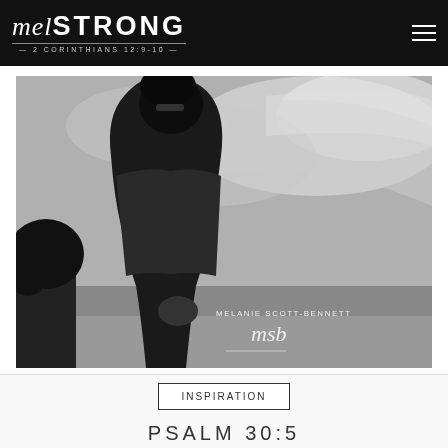MelSTRONG — 2 CORINTHIANS 12:9-10 —
[Figure (photo): Black and white photograph of a woman in silhouette/profile against a dramatic cloudy sky, wearing a sleeveless lace top, with trees visible at the lower left. Watermark reads 'MELANIE SCOTT-BENNETT msb' in lower right corner.]
INSPIRATION
PSALM 30:5